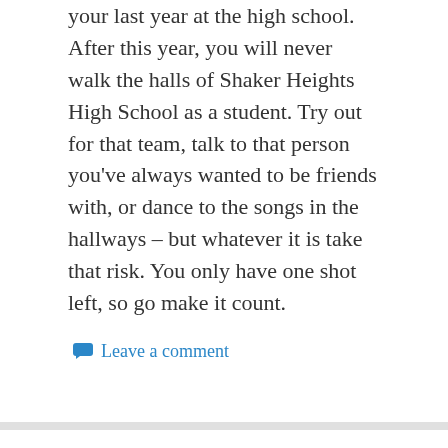your last year at the high school. After this year, you will never walk the halls of Shaker Heights High School as a student. Try out for that team, talk to that person you've always wanted to be friends with, or dance to the songs in the hallways – but whatever it is take that risk. You only have one shot left, so go make it count.
Leave a comment
Curly Girl and the Evil Hairbrush by Esti